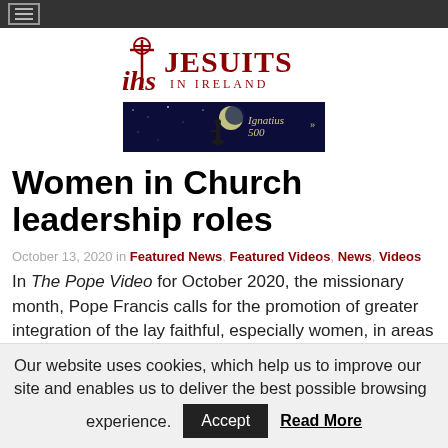Jesuits in Ireland - navigation bar
[Figure (logo): IHS Jesuits in Ireland logo with cross symbol in dark red]
[Figure (photo): Ignatius 500 banner advertisement showing a figure under the moon against a dark blue starry night sky]
Women in Church leadership roles
October 13, 2020 in Featured News, Featured Videos, News, Videos
In The Pope Video for October 2020, the missionary month, Pope Francis calls for the promotion of greater integration of the lay faithful, especially women, in areas of responsibility in the Church. The
Our website uses cookies, which help us to improve our site and enables us to deliver the best possible browsing experience. Accept Read More